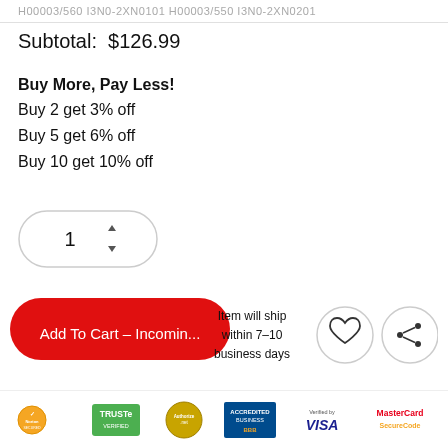H00003/560 I3N0-2XN0101 H00003/550 I3N0-2XN0201
Subtotal:  $126.99
Buy More, Pay Less!
Buy 2 get 3% off
Buy 5 get 6% off
Buy 10 get 10% off
[Figure (screenshot): Quantity selector spinner showing value 1 with up/down arrows, inside a rounded rectangle border]
[Figure (screenshot): Red rounded button labeled 'Add To Cart - Incomin...' with white text; shipping note 'Item will ship within 7-10 business days'; heart icon circle button; share icon circle button]
[Figure (screenshot): Trust badge bar with Norton Secured, TRUSTe Verified, Authorize.net, BBB Accredited Business, Verified by VISA, MasterCard SecureCode logos]